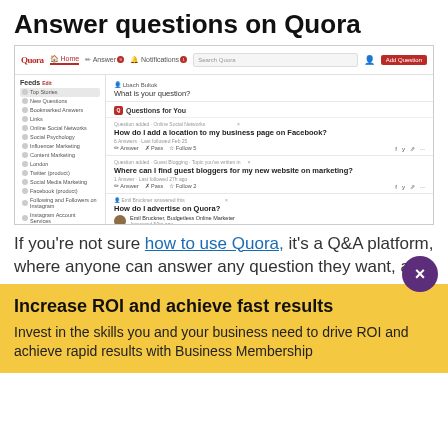Answer questions on Quora
[Figure (screenshot): Screenshot of Quora website showing the home feed with questions including 'How do I add a location to my business page on Facebook?' and 'Where can I find guest bloggers for my new website on marketing?' and 'How do I advertise on Quora?']
If you're not sure how to use Quora, it's a Q&A platform, where anyone can answer any question they want, and
Increase ROI and achieve fast results
Invest in the skills you and your business need to drive ROI and achieve rapid results with Business Membership